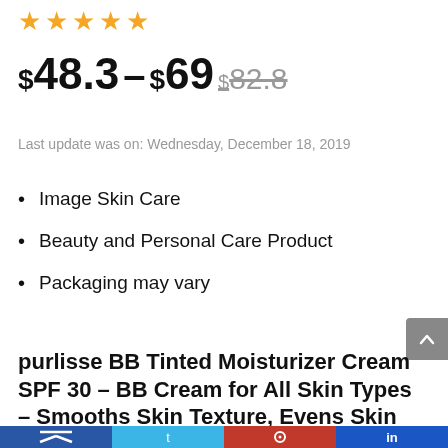[Figure (other): Five gold/orange star rating icons]
$48.3–$69 $82.8
Last update was on: Wednesday, December 18, 2019
Image Skin Care
Beauty and Personal Care Product
Packaging may vary
purlisse BB Tinted Moisturizer Cream SPF 30 – BB Cream for All Skin Types – Smooths Skin Texture, Evens Skin Tone – Medium, 1.4 Ounce
[Figure (other): Bottom navigation bar with dark blue, light blue, red, and medium blue sections with white icons]